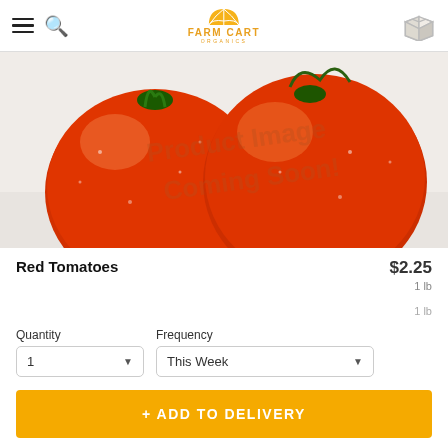Farm Cart Organics – navigation header with hamburger menu, search, logo, and cart icon
[Figure (photo): Two large red tomatoes with water droplets on a white background, overlaid with watermark text 'Product Image Coming Soon!']
Red Tomatoes
$2.25
1 lb
1 lb
Quantity
1
Frequency
This Week
+ ADD TO DELIVERY